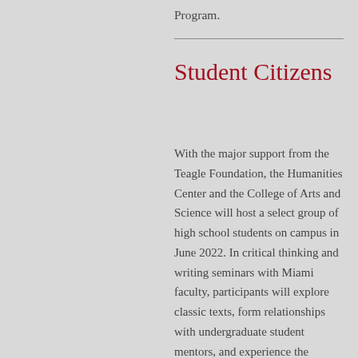Program.
Student Citizens
With the major support from the Teagle Foundation, the Humanities Center and the College of Arts and Science will host a select group of high school students on campus in June 2022. In critical thinking and writing seminars with Miami faculty, participants will explore classic texts, form relationships with undergraduate student mentors, and experience the